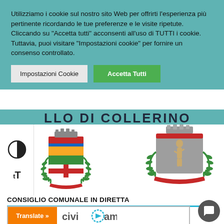Utilizziamo i cookie sul nostro sito Web per offrirti l'esperienza più pertinente ricordando le tue preferenze e le visite ripetute. Cliccando su "Accetta tutti" acconsenti all'uso di TUTTI i cookie. Tuttavia, puoi visitare "Impostazioni cookie" per fornire un consenso controllato.
[Figure (screenshot): Cookie consent banner with two buttons: 'Impostazioni Cookie' (grey) and 'Accetta Tutti' (green)]
[Figure (logo): Two municipal coat of arms logos side by side, with accessibility contrast and font-size icons on the left sidebar]
CONSIGLIO COMUNALE IN DIRETTA
[Figure (logo): CiviCam logo with orange Translate button and chat bubble icon]